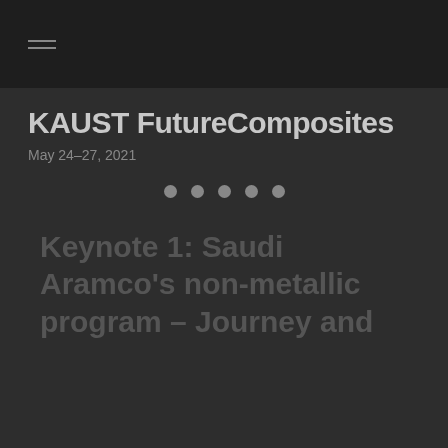KAUST FutureComposites
May 24-27, 2021
[Figure (other): Five circular navigation dots indicating a slideshow or carousel position indicator]
Keynote 1: Saudi Aramco's non-metallic program – Journey and